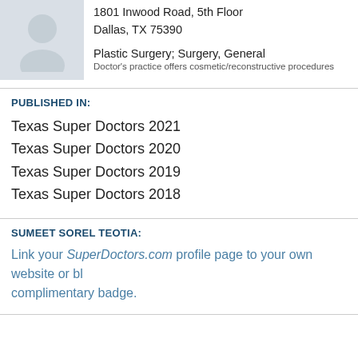[Figure (photo): Doctor profile photo placeholder with silhouette icon on grey background]
1801 Inwood Road, 5th Floor
Dallas, TX 75390
Plastic Surgery; Surgery, General
Doctor's practice offers cosmetic/reconstructive procedures
PUBLISHED IN:
Texas Super Doctors 2021
Texas Super Doctors 2020
Texas Super Doctors 2019
Texas Super Doctors 2018
SUMEET SOREL TEOTIA:
Link your SuperDoctors.com profile page to your own website or bl… complimentary badge.